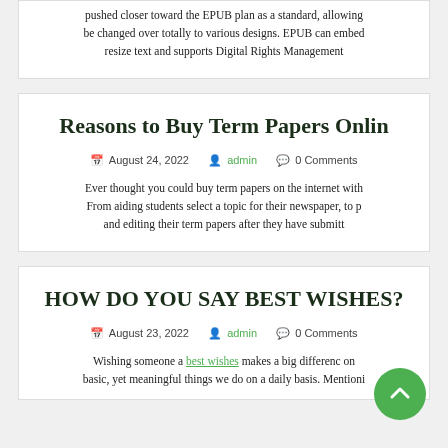pushed closer toward the EPUB plan as a standard, allowing be changed over totally to various designs. EPUB can embed resize text and supports Digital Rights Management
Reasons to Buy Term Papers Online
August 24, 2022   admin   0 Comments
Ever thought you could buy term papers on the internet with From aiding students select a topic for their newspaper, to p and editing their term papers after they have submitt
HOW DO YOU SAY BEST WISHES?
August 23, 2022   admin   0 Comments
Wishing someone a best wishes makes a big difference on basic, yet meaningful things we do on a daily basis. Mentioni